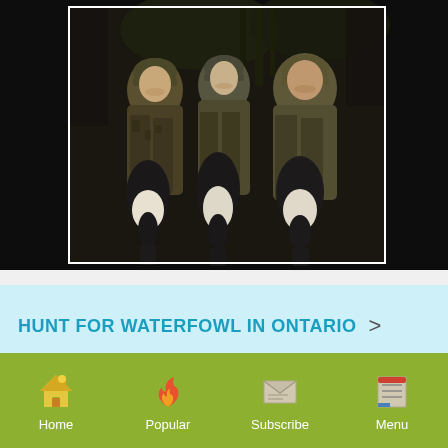[Figure (photo): Three hunters in camouflage clothing holding waterfowl (geese/ducks) at night. The three men are standing together, each holding large birds, against a dark background with some vegetation visible.]
HUNT FOR WATERFOWL IN ONTARIO >
Home | Popular | Subscribe | Menu